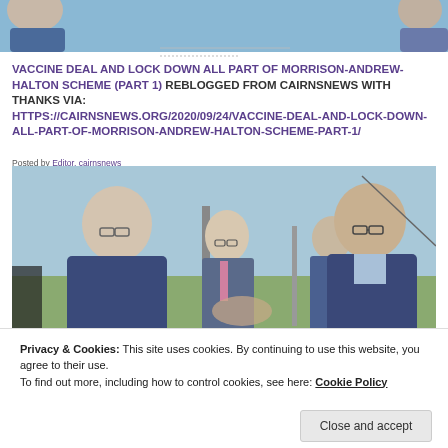[Figure (photo): Photo strip at top of page showing partial faces of people against a sky background]
VACCINE DEAL AND LOCK DOWN ALL PART OF MORRISON-ANDREW-HALTON SCHEME (PART 1) REBLOGGED FROM CAIRNSNEWS WITH THANKS VIA: HTTPS://CAIRNSNEWS.ORG/2020/09/24/VACCINE-DEAL-AND-LOCK-DOWN-ALL-PART-OF-MORRISON-ANDREW-HALTON-SCHEME-PART-1/
Posted by Editor, cairnsnews
[Figure (photo): Photo of two men in suits shaking hands outdoors, with two other men visible in the background. The men appear to be politicians.]
Privacy & Cookies: This site uses cookies. By continuing to use this website, you agree to their use.
To find out more, including how to control cookies, see here: Cookie Policy
Close and accept